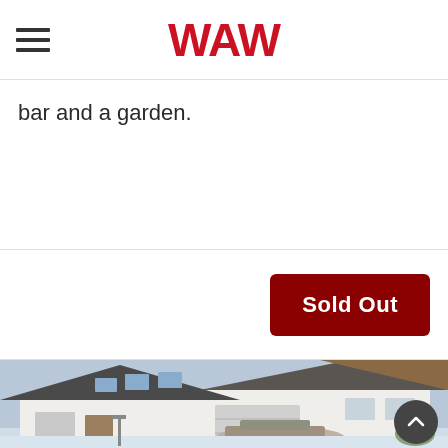WAW
bar and a garden.
Sold Out
[Figure (photo): Exterior photo of a house covered in snow, with a car parked in front and a garage door visible. The roof has skylights and snow-covered tiles. A back-to-top arrow button overlays the lower right corner.]